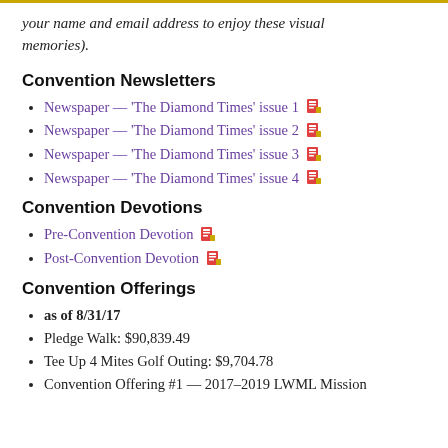your name and email address to enjoy these visual memories).
Convention Newsletters
Newspaper — 'The Diamond Times' issue 1
Newspaper — 'The Diamond Times' issue 2
Newspaper — 'The Diamond Times' issue 3
Newspaper — 'The Diamond Times' issue 4
Convention Devotions
Pre-Convention Devotion
Post-Convention Devotion
Convention Offerings
as of 8/31/17
Pledge Walk: $90,839.49
Tee Up 4 Mites Golf Outing: $9,704.78
Convention Offering #1 — 2017–2019 LWML Mission Goal: $1,079.51